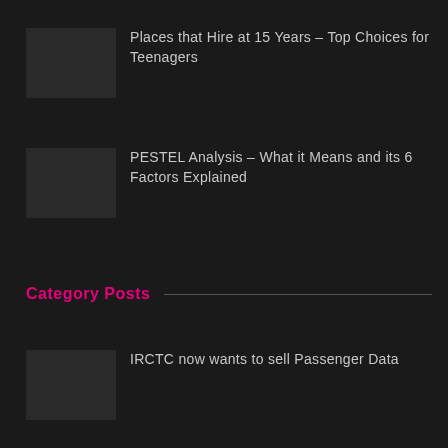Places that Hire at 15 Years – Top Choices for Teenagers
PESTEL Analysis – What it Means and its 6 Factors Explained
Category Posts
IRCTC now wants to sell Passenger Data